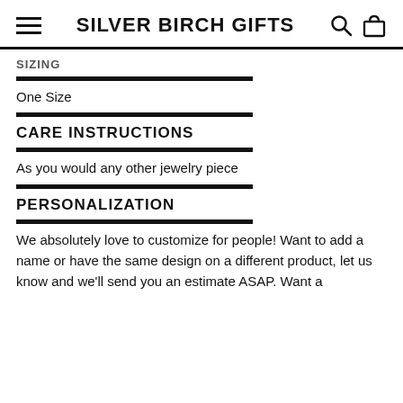SILVER BIRCH GIFTS
SIZING
One Size
CARE INSTRUCTIONS
As you would any other jewelry piece
PERSONALIZATION
We absolutely love to customize for people! Want to add a name or have the same design on a different product, let us know and we'll send you an estimate ASAP. Want a